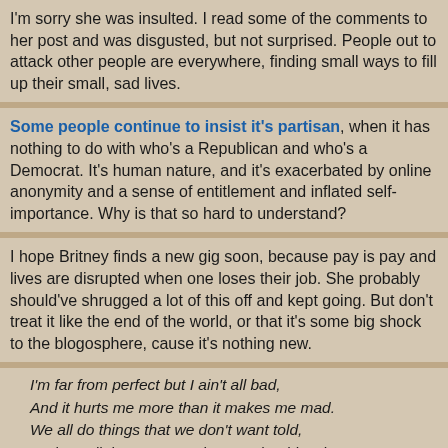I'm sorry she was insulted. I read some of the comments to her post and was disgusted, but not surprised. People out to attack other people are everywhere, finding small ways to fill up their small, sad lives.
Some people continue to insist it's partisan, when it has nothing to do with who's a Republican and who's a Democrat. It's human nature, and it's exacerbated by online anonymity and a sense of entitlement and inflated self-importance. Why is that so hard to understand?
I hope Britney finds a new gig soon, because pay is pay and lives are disrupted when one loses their job. She probably should've shrugged a lot of this off and kept going. But don't treat it like the end of the world, or that it's some big shock to the blogosphere, cause it's nothing new.
I'm far from perfect but I ain't all bad,
And it hurts me more than it makes me mad.
We all do things that we don't want told,
And we all throw stones that we shouldn't throw.